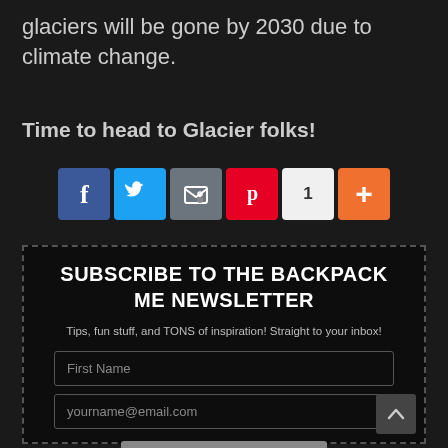glaciers will be gone by 2030 due to climate change.
Time to head to Glacier folks!
[Figure (infographic): Social sharing buttons: Facebook (blue), Twitter (light blue), Email (grey), Pinterest (red), share count badge showing 1, and a plus/more button (orange)]
SUBSCRIBE TO THE BACKPACK ME NEWSLETTER
Tips, fun stuff, and TONS of inspiration! Straight to your inbox!
First Name (input field)
yourname@email.com (input field)
SUBSCRIBE (button)